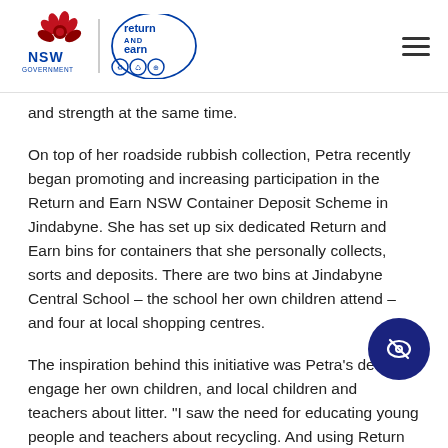[Figure (logo): NSW Government logo and Return and Earn logo side by side, with hamburger menu icon on the right]
and strength at the same time.
On top of her roadside rubbish collection, Petra recently began promoting and increasing participation in the Return and Earn NSW Container Deposit Scheme in Jindabyne. She has set up six dedicated Return and Earn bins for containers that she personally collects, sorts and deposits. There are two bins at Jindabyne Central School – the school her own children attend – and four at local shopping centres.
The inspiration behind this initiative was Petra's desire to engage her own children, and local children and teachers about litter. "I saw the need for educating young people and teachers about recycling. And using Return and Earn